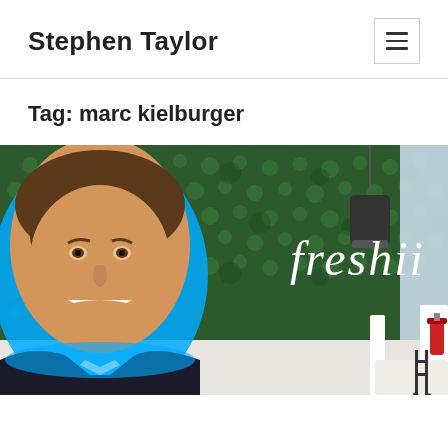Stephen Taylor
Tag: marc kielburger
[Figure (photo): A man smiling with a blue cutout outline overlaid on a Freshii restaurant interior background featuring a green hedge wall with 'freshii' branding, pendant lamp, white booth seating, condiments on table, and a fire extinguisher visible on the right.]